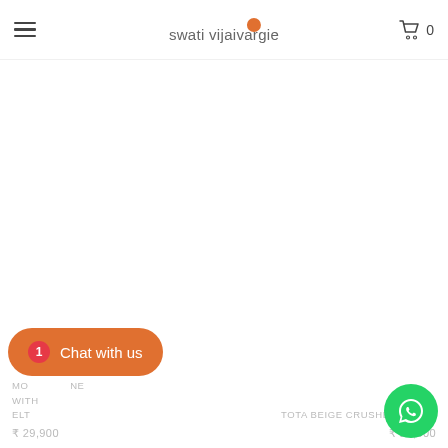swati vijaivargie — navigation header with hamburger menu and cart (0 items)
[Figure (screenshot): Large white/blank product image area in center of page]
MO... ...NE WITH ...ELT ₹ 29,900
TOTA BEIGE CRUSHED DRESS ₹ 26,900
[Figure (other): Chat with us button (orange pill shape) with badge showing 1]
[Figure (other): WhatsApp green circle button bottom right]